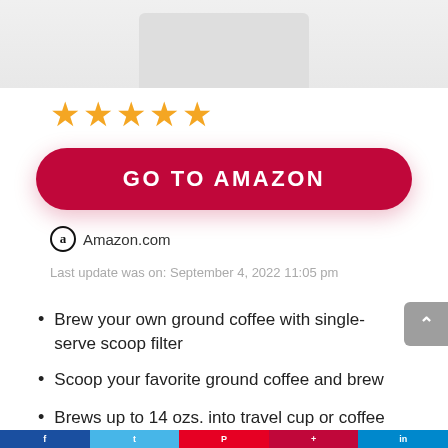[Figure (photo): Partial product image visible at the top of the page, appears to be a coffee maker or mug on white background]
[Figure (other): Five orange/gold star rating icons]
GO TO AMAZON
Amazon.com
Last update was on: September 4, 2022 11:05 pm
Brew your own ground coffee with single-serve scoop filter
Scoop your favorite ground coffee and brew
Brews up to 14 ozs. into travel cup or coffee mug
Social sharing bar